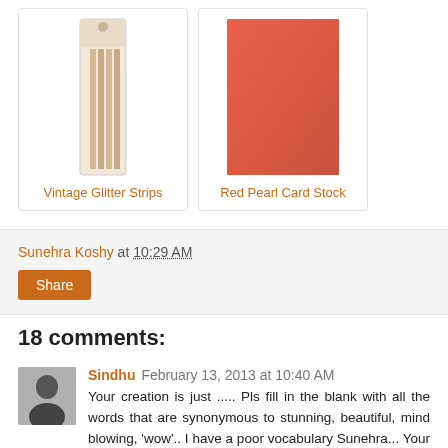[Figure (photo): Product image: Vintage Glitter Strips packaging (tall thin package of wooden/bamboo strips)]
Vintage Glitter Strips
[Figure (photo): Product image: Red Pearl Card Stock (solid red/coral colored card stock sheet)]
Red Pearl Card Stock
Sunehra Koshy at 10:29 AM
Share
18 comments:
[Figure (photo): Commenter avatar: black and white photo of a woman]
Sindhu February 13, 2013 at 10:40 AM
Your creation is just ..... Pls fill in the blank with all the words that are synonymous to stunning, beautiful, mind blowing, 'wow'.. I have a poor vocabulary Sunehra... Your husband is gonna ADORE it... A humble bow to you..
Reply